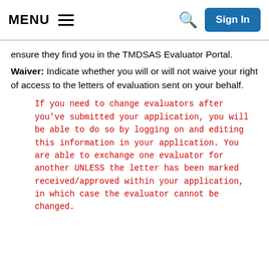MENU  [hamburger icon]  [search icon]  Sign In
ensure they find you in the TMDSAS Evaluator Portal.
Waiver: Indicate whether you will or will not waive your right of access to the letters of evaluation sent on your behalf.
If you need to change evaluators after you've submitted your application, you will be able to do so by logging on and editing this information in your application. You are able to exchange one evaluator for another UNLESS the letter has been marked received/approved within your application, in which case the evaluator cannot be changed.